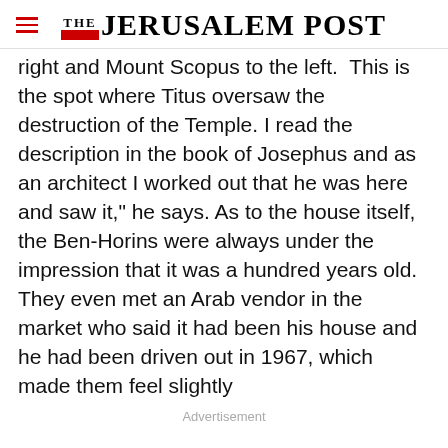THE JERUSALEM POST
right and Mount Scopus to the left.  This is the spot where Titus oversaw the destruction of the Temple. I read the description in the book of Josephus and as an architect I worked out that he was here and saw it," he says. As to the house itself, the Ben-Horins were always under the impression that it was a hundred years old. They even met an Arab vendor in the market who said it had been his house and he had been driven out in 1967, which made them feel slightly
Advertisement